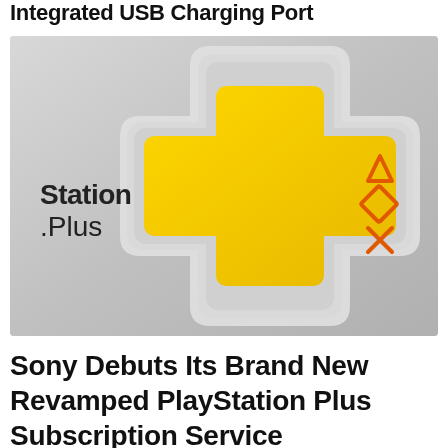Integrated USB Charging Port
[Figure (photo): PlayStation Plus logo rendered in 3D with a yellow plus sign shape and PlayStation controller symbols (triangle, square, cross) on a silver/grey layered background. Text 'Station.Plus' visible on the left side.]
Sony Debuts Its Brand New Revamped PlayStation Plus Subscription Service